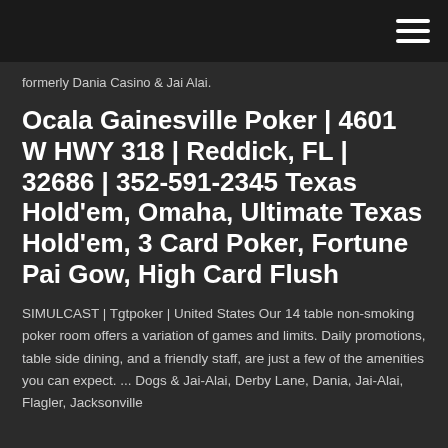[hamburger menu icon]
formerly Dania Casino & Jai Alai.
Ocala Gainesville Poker | 4601 W HWY 318 | Reddick, FL | 32686 | 352-591-2345 Texas Hold'em, Omaha, Ultimate Texas Hold'em, 3 Card Poker, Fortune Pai Gow, High Card Flush
SIMULCAST | Tgtpoker | United States Our 14 table non-smoking poker room offers a variation of games and limits. Daily promotions, table side dining, and a friendly staff, are just a few of the amenities you can expect. ... Dogs & Jai-Alai, Derby Lane, Dania, Jai-Alai, Flagler, Jacksonville